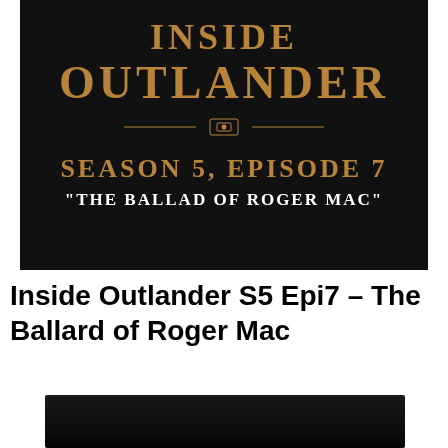[Figure (illustration): Dark black background promotional image with gold text reading INSIDE OUTLANDER, decorative ornament, SEASON 5, EPISODE 7, and white text THE BALLAD OF ROGER MAC in quotes]
Inside Outlander S5 Epi7 – The Ballard of Roger Mac
[Figure (photo): Dark/black video thumbnail at bottom of page]